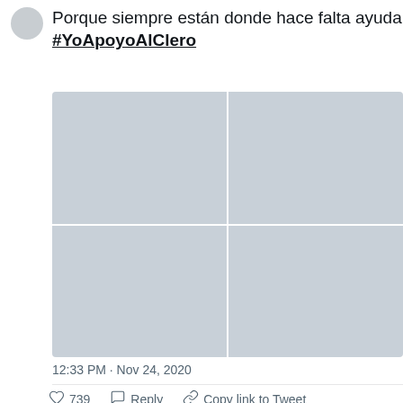[Figure (screenshot): Twitter/X tweet screenshot showing avatar circle placeholder at top left]
Porque siempre están donde hace falta ayuda #YoApoyoAlClero
[Figure (photo): Four-image grid with placeholder gray images in a 2x2 layout]
12:33 PM · Nov 24, 2020
739  Reply  Copy link to Tweet